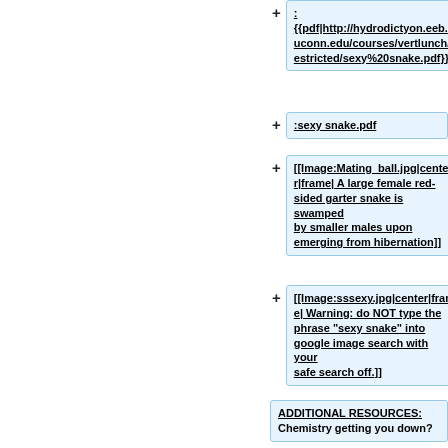: {{pdf|http://hydrodictyon.eeb.uconn.edu/courses/vertlunch/restricted/sexy%20snake.pdf}}
:sexy snake.pdf
[[Image:Mating_ball.jpg|center|frame| A large female red-sided garter snake is swamped by smaller males upon emerging from hibernation]]
[[Image:sssexy.jpg|center|frame| Warning: do NOT type the phrase "sexy snake" into google image search with your safe search off.]]
ADDITIONAL RESOURCES: Chemistry getting you down?